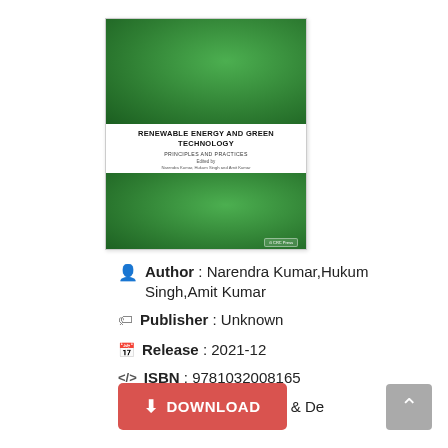[Figure (illustration): Book cover for 'Renewable Energy and Green Technology: Principles and Practices' edited by Narendra Kumar, Hukum Singh and Amit Kumar. The cover features a green textured background at top and bottom with the title text in the center white area. CRC Press logo visible at bottom right.]
Author : Narendra Kumar,Hukum Singh,Amit Kumar
Publisher : Unknown
Release : 2021-12
ISBN : 9781032008165
Language : En, Es, Fr & De
DOWNLOAD